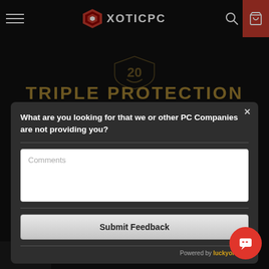XOTICPC navigation header with hamburger menu, logo, search and cart icons
[Figure (screenshot): Partial shield/logo graphic above TRIPLE PROTECTION heading, on dark background]
TRIPLE PROTECTION
What are you looking for that we or other PC Companies are not providing you?
Comments
Submit Feedback
Powered by luckyorange